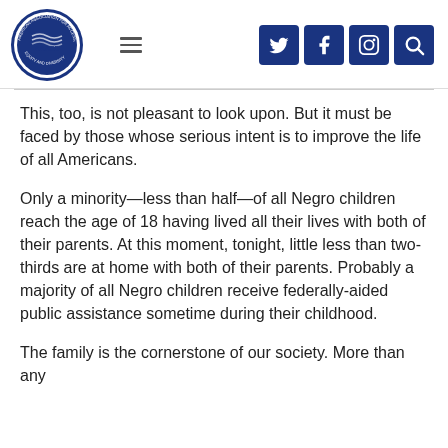[Figure (logo): AAAED American Association for Access, Equity and Diversity circular logo with a flag and ribbon motif]
This, too, is not pleasant to look upon. But it must be faced by those whose serious intent is to improve the life of all Americans.
Only a minority—less than half—of all Negro children reach the age of 18 having lived all their lives with both of their parents. At this moment, tonight, little less than two-thirds are at home with both of their parents. Probably a majority of all Negro children receive federally-aided public assistance sometime during their childhood.
The family is the cornerstone of our society. More than any